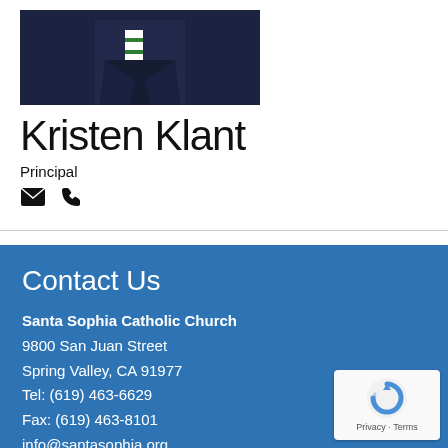[Figure (photo): Portrait photo of Kristen Klant wearing a dark suit with a green and white striped tie, cropped at upper body]
Kristen Klant
Principal
[Figure (other): Email envelope icon and phone icon]
Contact Us
Santa Sophia Catholic Church
9800 San Juan Street
Spring Valley, CA 91977
Tel: (619) 463-6629
Fax: (619) 463-8101
info@santasophia.org